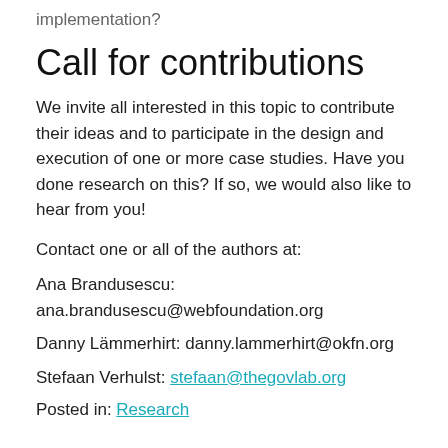implementation?
Call for contributions
We invite all interested in this topic to contribute their ideas and to participate in the design and execution of one or more case studies. Have you done research on this? If so, we would also like to hear from you!
Contact one or all of the authors at:
Ana Brandusescu: ana.brandusescu@webfoundation.org
Danny Lämmerhirt: danny.lammerhirt@okfn.org
Stefaan Verhulst: stefaan@thegovlab.org
Posted in: Research
12 thoughts on “Mapping open data